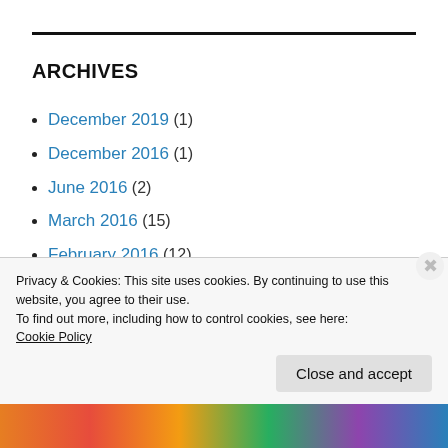ARCHIVES
December 2019 (1)
December 2016 (1)
June 2016 (2)
March 2016 (15)
February 2016 (12)
October 2015 (1)
July 2014 (1)
Privacy & Cookies: This site uses cookies. By continuing to use this website, you agree to their use.
To find out more, including how to control cookies, see here:
Cookie Policy
Close and accept